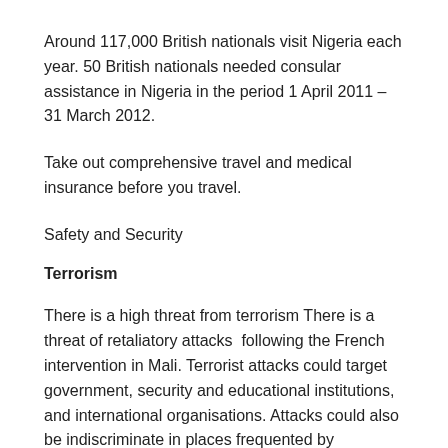Around 117,000 British nationals visit Nigeria each year. 50 British nationals needed consular assistance in Nigeria in the period 1 April 2011 – 31 March 2012.
Take out comprehensive travel and medical insurance before you travel.
Safety and Security
Terrorism
There is a high threat from terrorism There is a threat of retaliatory attacks  following the French intervention in Mali. Terrorist attacks could target government, security and educational institutions, and international organisations. Attacks could also be indiscriminate in places frequented by foreigners like restaurants, hotels, bars, and beaches.